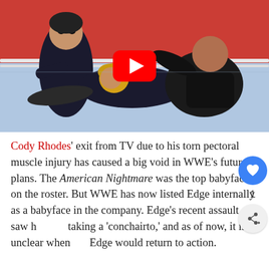[Figure (photo): WWE wrestling match scene showing wrestlers on the ring mat with a YouTube play button overlay. A crowd fills the arena background. Female wrestler in dark gear on left, male wrestlers grappling on the mat.]
Cody Rhodes' exit from TV due to his torn pectoral muscle injury has caused a big void in WWE's future plans. The American Nightmare was the top babyface on the roster. But WWE has now listed Edge internally as a babyface in the company. Edge's recent assault saw him taking a 'conchairto,' and as of now, it is unclear when Edge would return to action.